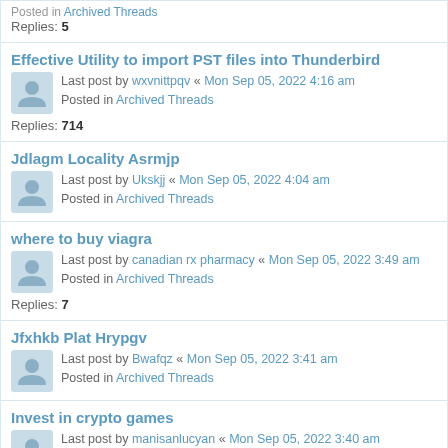Replies: 5
Effective Utility to import PST files into Thunderbird
Last post by wxvnittpqv « Mon Sep 05, 2022 4:16 am
Posted in Archived Threads
Replies: 714
Jdlagm Locality Asrmjp
Last post by Ukskjj « Mon Sep 05, 2022 4:04 am
Posted in Archived Threads
where to buy viagra
Last post by canadian rx pharmacy « Mon Sep 05, 2022 3:49 am
Posted in Archived Threads
Replies: 7
Jfxhkb Plat Hrypgv
Last post by Bwafqz « Mon Sep 05, 2022 3:41 am
Posted in Archived Threads
Invest in crypto games
Last post by manisanlucyan « Mon Sep 05, 2022 3:40 am
Posted in Archived Threads
Replies: 4